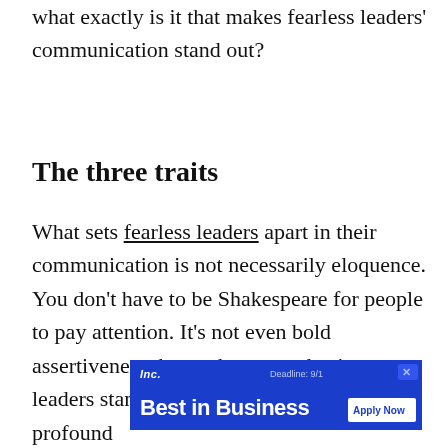what exactly is it that makes fearless leaders' communication stand out?
The three traits
What sets fearless leaders apart in their communication is not necessarily eloquence. You don't have to be Shakespeare for people to pay attention. It's not even bold assertiveness that makes many business leaders stand out. Some of the most profound com... ns as
[Figure (other): Inc. Best in Business advertisement banner with 'Deadline: 9/1' and 'Apply Now' button]